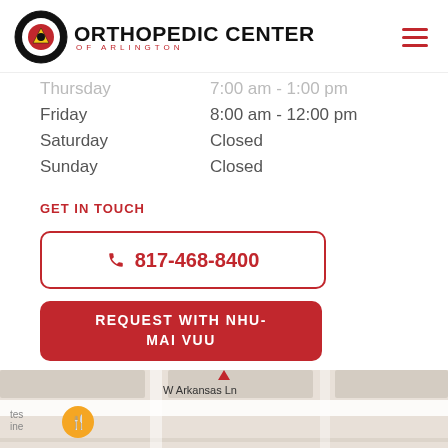Orthopedic Center of Arlington
Thursday   7:00 am - 1:00 pm
Friday   8:00 am - 12:00 pm
Saturday   Closed
Sunday   Closed
GET IN TOUCH
817-468-8400
REQUEST WITH NHU-MAI VUU
[Figure (map): Street map showing W Arkansas Ln area]